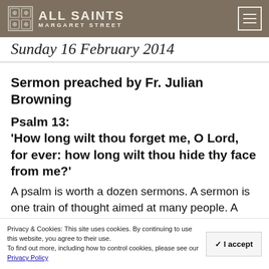ALL SAINTS MARGARET STREET
Sunday 16 February 2014
Sermon preached by Fr. Julian Browning
Psalm 13: ‘How long wilt thou forget me, O Lord, for ever: how long wilt thou hide thy face from me?’
A psalm is worth a dozen sermons. A sermon is one train of thought aimed at many people. A
Privacy & Cookies: This site uses cookies. By continuing to use this website, you agree to their use. To find out more, including how to control cookies, please see our Privacy Policy